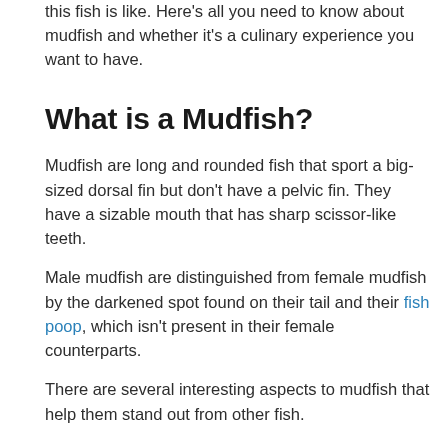this fish is like. Here's all you need to know about mudfish and whether it's a culinary experience you want to have.
What is a Mudfish?
Mudfish are long and rounded fish that sport a big-sized dorsal fin but don't have a pelvic fin. They have a sizable mouth that has sharp scissor-like teeth.
Male mudfish are distinguished from female mudfish by the darkened spot found on their tail and their fish poop, which isn't present in their female counterparts.
There are several interesting aspects to mudfish that help them stand out from other fish.